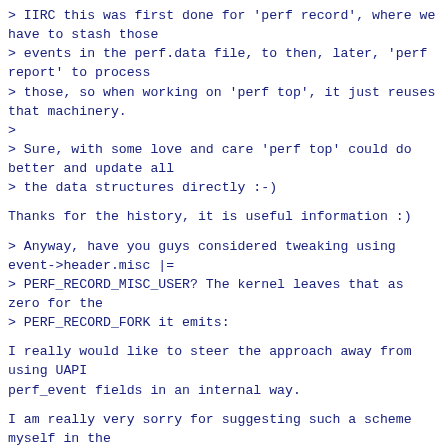> IIRC this was first done for 'perf record', where we have to stash those
> events in the perf.data file, to then, later, 'perf report' to process
> those, so when working on 'perf top', it just reuses that machinery.
>
> Sure, with some love and care 'perf top' could do better and update all
> the data structures directly :-)
Thanks for the history, it is useful information :)
> Anyway, have you guys considered tweaking using event->header.misc |=
> PERF_RECORD_MISC_USER? The kernel leaves that as zero for the
> PERF_RECORD_FORK it emits:
I really would like to steer the approach away from using UAPI
perf_event fields in an internal way.
I am really very sorry for suggesting such a scheme myself in the
first place.  It really was a bad idea upon much consideration.
The synthetic fork is not really a fork, it's more like a "create".